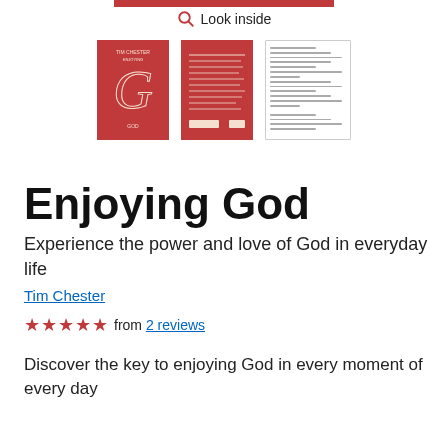[Figure (other): Red horizontal bar at top of page]
Look inside
[Figure (photo): Three book thumbnails showing: front cover (red with 'Enjoying God' title and decorative G logo), back cover (red with text), and interior page (white with text lines)]
Enjoying God
Experience the power and love of God in everyday life
Tim Chester
★★★★★ from 2 reviews
Discover the key to enjoying God in every moment of every day